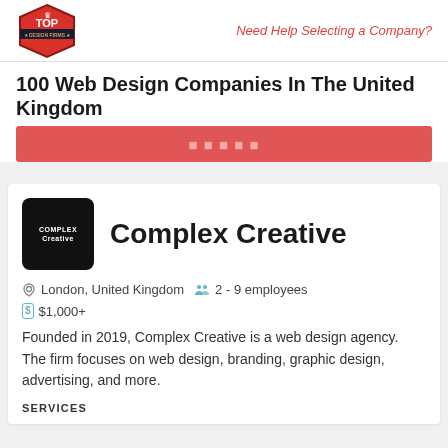Need Help Selecting a Company?
100 Web Design Companies In The United Kingdom
[Figure (logo): Complex Creative black square logo with white text]
Complex Creative
London, United Kingdom   2 - 9 employees   $1,000+
Founded in 2019, Complex Creative is a web design agency. The firm focuses on web design, branding, graphic design, advertising, and more.
SERVICES